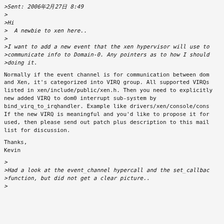>Sent: 2006年2月27日 8:49
>
>Hi
>  A newbie to xen here..
>
>I want to add a new event that the xen hypervisor will use to >communicate info to Domain-0. Any pointers as to how I should >doing it.
Normally if the event channel is for communication between dom and Xen, it's categorized into VIRQ group. All supported VIRQs listed in xen/include/public/xen.h. Then you need to explicitly new added VIRQ to dom0 interrupt sub-system by bind_virq_to_irqhandler. Example like drivers/xen/console/cons If the new VIRQ is meaningful and you'd like to propose it for used, then please send out patch plus description to this mail list for discussion.
Thanks,
Kevin
>
>Had a look at the event_channel hypercall and the set_callback >function, but did not get a clear picture..
>